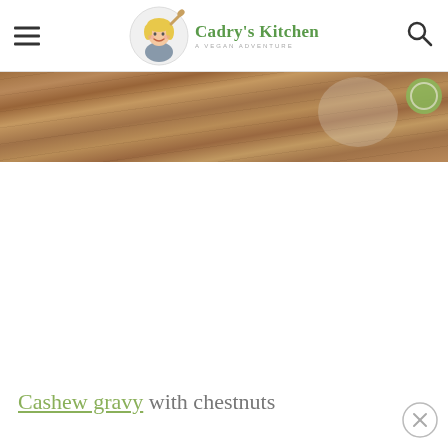Cadry's Kitchen — A Vegan Adventure
[Figure (photo): Top portion of a food photo showing a wooden surface background, partially cropped. A green circular badge is visible in the top right corner.]
Cashew gravy with chestnuts